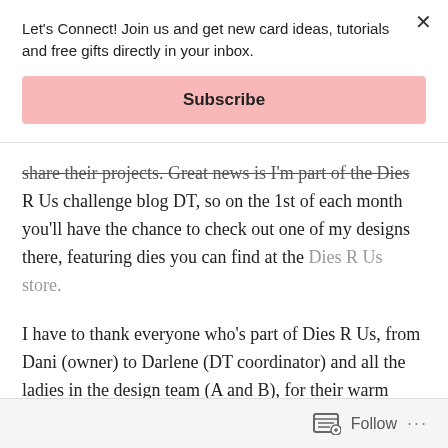Let's Connect! Join us and get new card ideas, tutorials and free gifts directly in your inbox.
Subscribe
share their projects. Great news is I'm part of the Dies R Us challenge blog DT, so on the 1st of each month you'll have the chance to check out one of my designs there, featuring dies you can find at the Dies R Us store.
I have to thank everyone who's part of Dies R Us, from Dani (owner) to Darlene (DT coordinator) and all the ladies in the design team (A and B), for their warm welcome, kindness and support. You should know
Follow